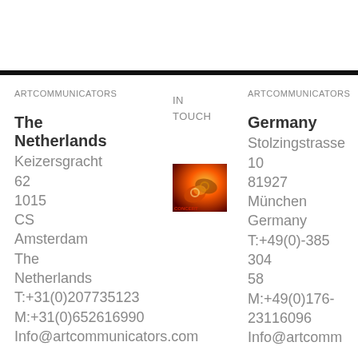ARTCOMMUNICATORS IN TOUCH
ARTCOMMUNICATORS IN TOUCH
The Netherlands
Keizersgracht 62
1015
CS
Amsterdam
The Netherlands
T:+31(0)207735123
M:+31(0)652616990
Info@artcommunicators.com
[Figure (photo): Small logo image showing hands connecting, warm orange/red tones]
Germany
Stolzingstrasse 10
81927
München
Germany
T:+49(0)-385 304 58
M:+49(0)176-23116096
Info@artcomm...